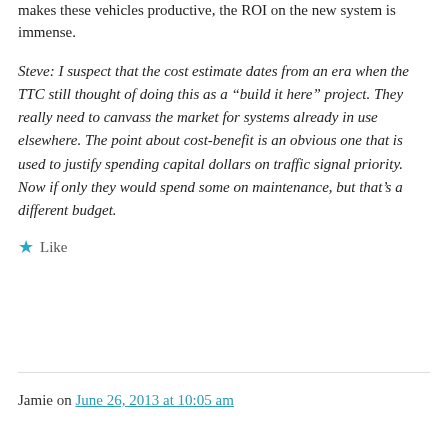makes these vehicles productive, the ROI on the new system is immense.
Steve: I suspect that the cost estimate dates from an era when the TTC still thought of doing this as a “build it here” project. They really need to canvass the market for systems already in use elsewhere. The point about cost-benefit is an obvious one that is used to justify spending capital dollars on traffic signal priority. Now if only they would spend some on maintenance, but that’s a different budget.
★ Like
Jamie on June 26, 2013 at 10:05 am